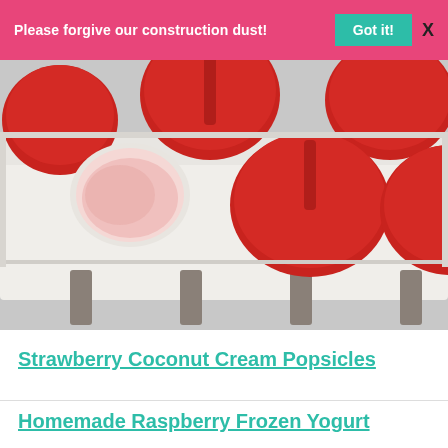Please forgive our construction dust! Got it! X
[Figure (photo): A popsicle mold tray with red circular lids and one empty open mold showing pink frozen liquid, with popsicle sticks visible below]
Strawberry Coconut Cream Popsicles
Homemade Raspberry Frozen Yogurt